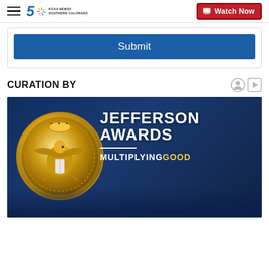5 KOAA NEWS5 SOUTHERN COLORADO | Watch Now
Submit
CURATION BY
[Figure (photo): Jefferson Awards - Multiplying Good promotional image with gold eagle medallion on dark blue background with people in background]